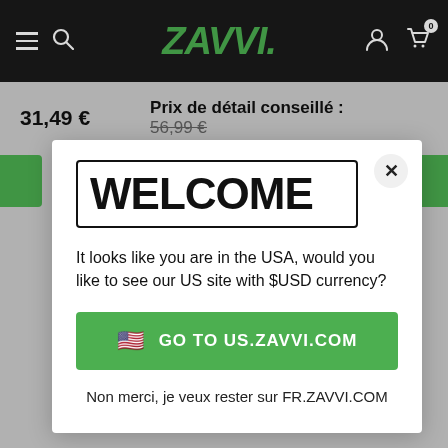[Figure (screenshot): Zavvi e-commerce website header with black navigation bar showing hamburger menu, search icon, ZAVVI logo in green italic, user icon, and cart icon with badge '0']
31,49 €
Prix de détail conseillé : 56,99 €
WELCOME
It looks like you are in the USA, would you like to see our US site with $USD currency?
🇺🇸 GO TO US.ZAVVI.COM
Non merci, je veux rester sur FR.ZAVVI.COM